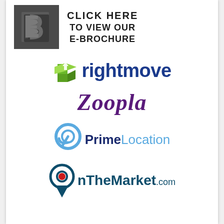[Figure (logo): Dark grey square logo with a stylized 'B' letter, next to bold text reading 'CLICK HERE TO VIEW OUR E-BROCHURE']
[Figure (logo): Rightmove logo: green 3D house/box icon followed by 'rightmove' in dark blue bold text]
[Figure (logo): Zoopla logo: 'Zoopla' in large purple serif bold text]
[Figure (logo): PrimeLocation logo: blue circular 'p' icon followed by 'Prime' in dark blue bold and 'Location' in light blue regular text]
[Figure (logo): OnTheMarket.com logo: circular pin icon with red dot, followed by 'OnTheMarket.com' in dark teal text]